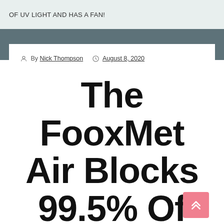OF UV LIGHT AND HAS A FAN!
By Nick Thompson  August 8, 2020
The FooxMet Air Blocks 99.5% Of UV Light And Has A Fan!